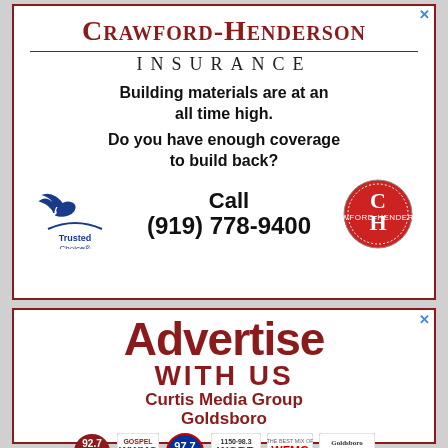[Figure (infographic): Crawford-Henderson Insurance advertisement with logo, Trusted Choice badge, CH circular logo, bold text about building materials coverage, and phone number (919) 778-9400]
[Figure (infographic): Advertise With Us - Curtis Media Group Goldsboro advertisement with radio station logos: 92.7 WAMS, WWMC Gospel, 97.7, WGBR 1150-98.3, WFMC, Goldsboro Daily News]